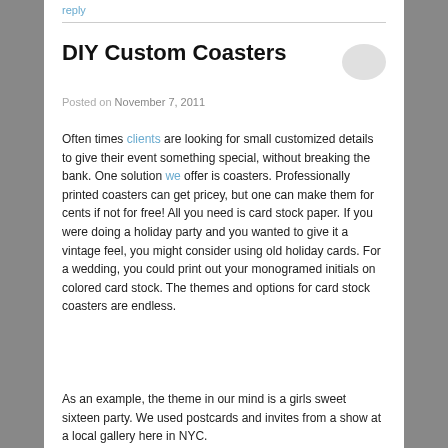reply
DIY Custom Coasters
Posted on November 7, 2011
Often times clients are looking for small customized details to give their event something special, without breaking the bank. One solution we offer is coasters. Professionally printed coasters can get pricey, but one can make them for cents if not for free! All you need is card stock paper. If you were doing a holiday party and you wanted to give it a vintage feel, you might consider using old holiday cards. For a wedding, you could print out your monogramed initials on colored card stock. The themes and options for card stock coasters are endless.
As an example, the theme in our mind is a girls sweet sixteen party. We used postcards and invites from a show at a local gallery here in NYC.